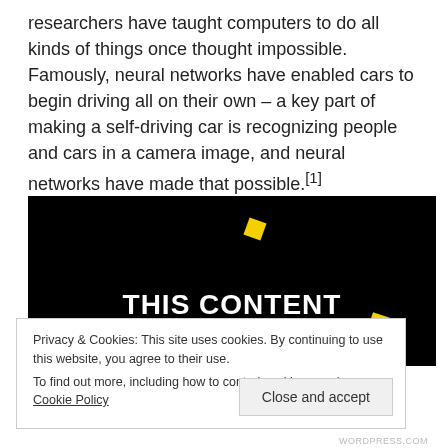researchers have taught computers to do all kinds of things once thought impossible. Famously, neural networks have enabled cars to begin driving all on their own – a key part of making a self-driving car is recognizing people and cars in a camera image, and neural networks have made that possible.[1]
[Figure (screenshot): Black background image with bold white uppercase text reading 'THIS CONTENT IS NOT AVAILABLE' and two yellow rotated squares as decorative elements]
Privacy & Cookies: This site uses cookies. By continuing to use this website, you agree to their use.
To find out more, including how to control cookies, see here: Cookie Policy